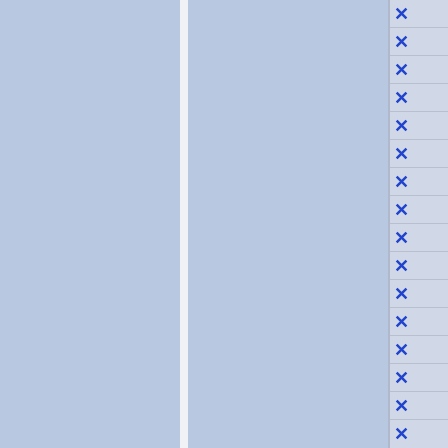[Figure (other): A layout with two large blue-shaded panels separated by a white vertical divider on the left side, and a narrow right column containing a vertical list of blue X marks in rows separated by thin lines on a light grey background.]